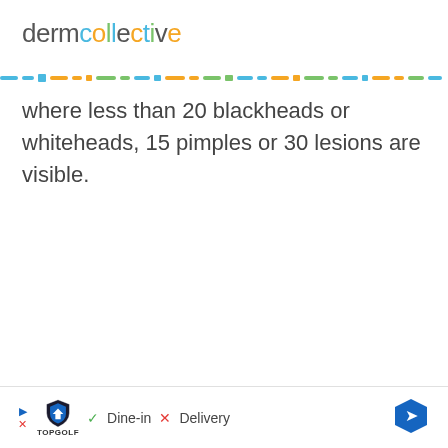dermcollective
where less than 20 blackheads or whiteheads, 15 pimples or 30 lesions are visible.
[Figure (other): Advertisement bar at bottom of page showing TopGolf logo with Dine-in checkmark, Delivery X mark, and navigation arrow icon]